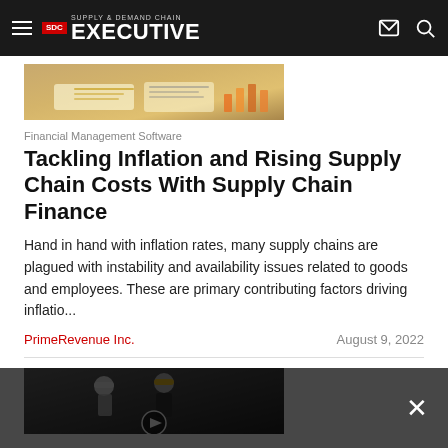SDC SUPPLY & DEMAND CHAIN EXECUTIVE
[Figure (photo): Hands pointing at financial charts and documents on a tablet/paper, warm tones]
Financial Management Software
Tackling Inflation and Rising Supply Chain Costs With Supply Chain Finance
Hand in hand with inflation rates, many supply chains are plagued with instability and availability issues related to goods and employees. These are primary contributing factors driving inflatio...
PrimeRevenue Inc.    August 9, 2022
[Figure (photo): Two workers, one in white hard hat and one in yellow hard hat, standing together outdoors or at a job site]